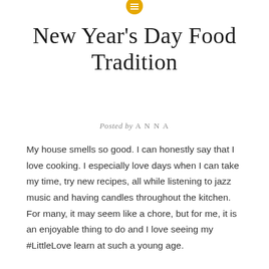[Figure (logo): Gold/yellow circular icon with menu lines symbol at top center of page]
New Year's Day Food Tradition
Posted by ANNA
My house smells so good. I can honestly say that I love cooking. I especially love days when I can take my time, try new recipes, all while listening to jazz music and having candles throughout the kitchen. For many, it may seem like a chore, but for me, it is an enjoyable thing to do and I love seeing my #LittleLove learn at such a young age.
Today, I am carrying on a southern tradition.